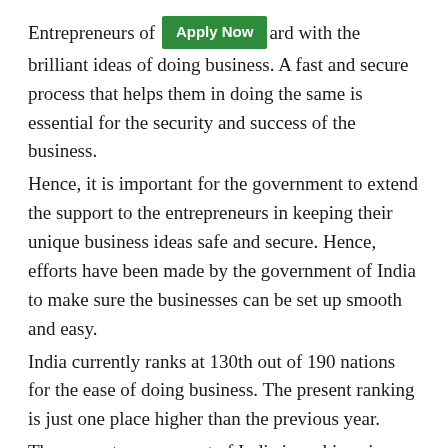Entrepreneurs of [Apply Now] ard with the brilliant ideas of doing business. A fast and secure process that helps them in doing the same is essential for the security and success of the business.
Hence, it is important for the government to extend the support to the entrepreneurs in keeping their unique business ideas safe and secure. Hence, efforts have been made by the government of India to make sure the businesses can be set up smooth and easy.
India currently ranks at 130th out of 190 nations for the ease of doing business. The present ranking is just one place higher than the previous year.
The present government of India is making sincere efforts in bringing forth changes in the business sector in India. The Honorable Prime Minister has decided Bring India amidst top 50 nations that are business